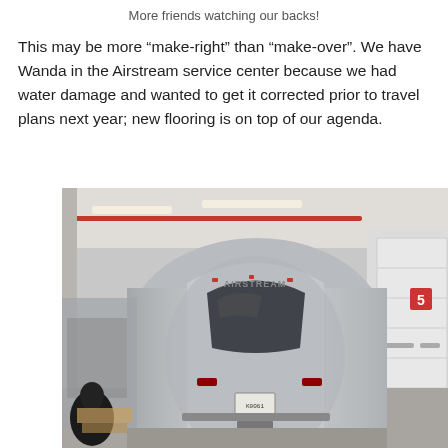More friends watching our backs!
This may be more “make-right” than “make-over”. We have Wanda in the Airstream service center because we had water damage and wanted to get it corrected prior to travel plans next year; new flooring is on top of our agenda.
[Figure (photo): A silver Airstream trailer inside a large service center/garage bay. The trailer faces the camera, showing its rounded front and windshield. 'AIRSTREAM' is written across the front. The garage has fluorescent lighting, a red pipe along the ceiling, and a white roll-up door with a '5' sign on the right. A person in dark clothing is partially visible in the lower-left corner.]